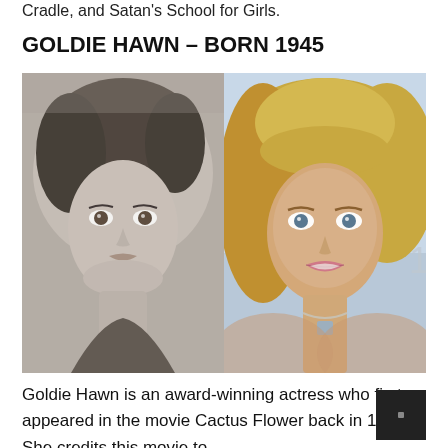Cradle, and Satan's School for Girls.
GOLDIE HAWN – BORN 1945
[Figure (photo): Side-by-side photos of Goldie Hawn: left is a black-and-white portrait from her youth, right is a color photo showing her older with blonde hair and a necklace.]
Goldie Hawn is an award-winning actress who first appeared in the movie Cactus Flower back in 1969. She credits this movie to